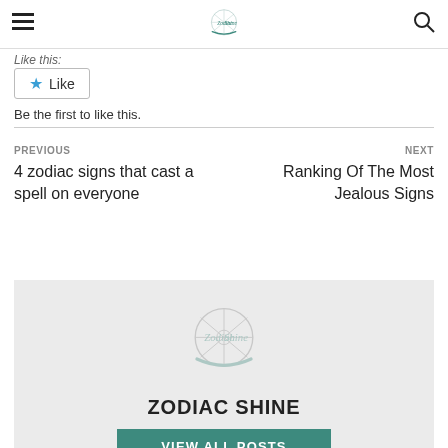ZodiacShine logo header with hamburger menu and search icon
Like this:
Be the first to like this.
PREVIOUS
4 zodiac signs that cast a spell on everyone
NEXT
Ranking Of The Most Jealous Signs
[Figure (logo): ZodiacShine globe/compass logo, teal swoosh, faded watermark style]
ZODIAC SHINE
VIEW ALL POSTS